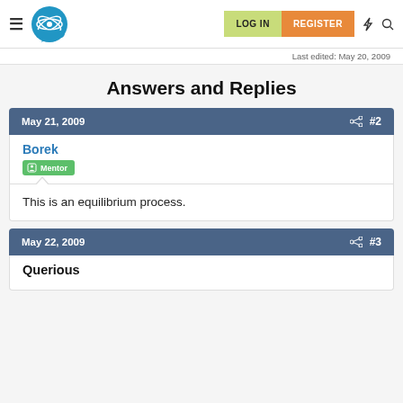Physics Forums | LOG IN | REGISTER
Last edited: May 20, 2009
Answers and Replies
May 21, 2009  #2
Borek
Mentor
This is an equilibrium process.
May 22, 2009  #3
Querious